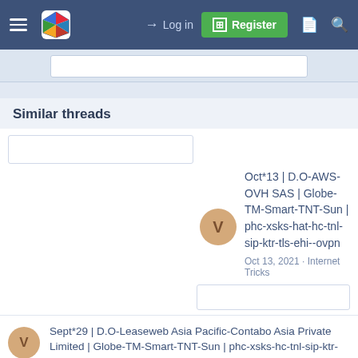Navigation bar with hamburger menu, logo, Log in, Register, and search/document icons
Similar threads
Oct*13 | D.O-AWS-OVH SAS | Globe-TM-Smart-TNT-Sun | phc-xsks-hat-hc-tnl-sip-ktr-tls-ehi--ovpn
Oct 13, 2021 · Internet Tricks
Sept*29 | D.O-Leaseweb Asia Pacific-Contabo Asia Private Limited | Globe-TM-Smart-TNT-Sun | phc-xsks-hc-tnl-sip-ktr-ehi-ovpn-svi